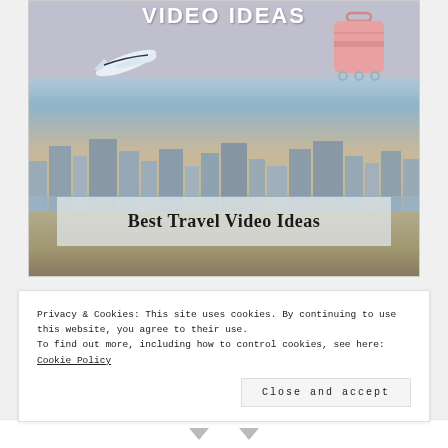[Figure (illustration): Travel blog thumbnail image showing a city skyline beach scene with an airplane and pink suitcase, overlaid with the text 'VIDEO IDEAS' at the top and a semi-transparent box reading 'Best Travel Video Ideas' in the lower portion of the image.]
Best Travel Video Ideas
Privacy & Cookies: This site uses cookies. By continuing to use this website, you agree to their use.
To find out more, including how to control cookies, see here: Cookie Policy
Close and accept